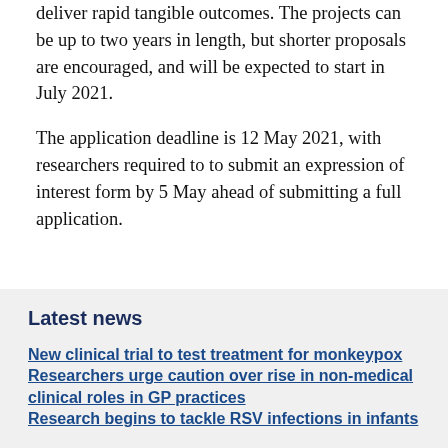deliver rapid tangible outcomes. The projects can be up to two years in length, but shorter proposals are encouraged, and will be expected to start in July 2021.
The application deadline is 12 May 2021, with researchers required to to submit an expression of interest form by 5 May ahead of submitting a full application.
Latest news
New clinical trial to test treatment for monkeypox
Researchers urge caution over rise in non-medical clinical roles in GP practices
Research begins to tackle RSV infections in infants